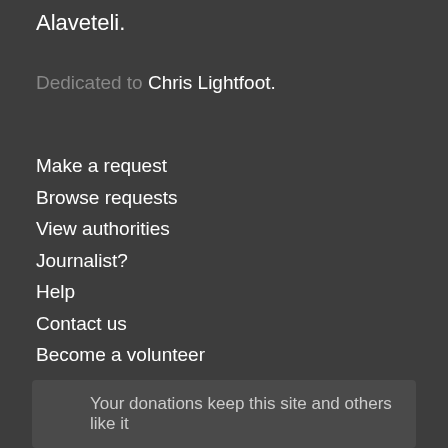Alaveteli.
Dedicated to Chris Lightfoot.
Make a request
Browse requests
View authorities
Journalist?
Help
Contact us
Become a volunteer
House rules
Privacy and cookies
API
Pro Terms
Your donations keep this site and others like it